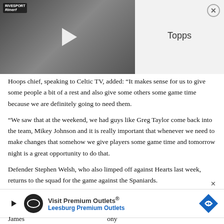[Figure (screenshot): Video thumbnail showing a man in a blue shirt being interviewed on a street, with a play button overlay. A small logo appears top-left.]
Topps
Hoops chief, speaking to Celtic TV, added: “It makes sense for us to give some people a bit of a rest and also give some others some game time because we are definitely going to need them.
“We saw that at the weekend, we had guys like Greg Taylor come back into the team, Mikey Johnson and it is really important that whenever we need to make changes that somehow we give players some game time and tomorrow night is a great opportunity to do that.
Defender Stephen Welsh, who also limped off against Hearts last week, returns to the squad for the game against the Spaniards.
James … ony